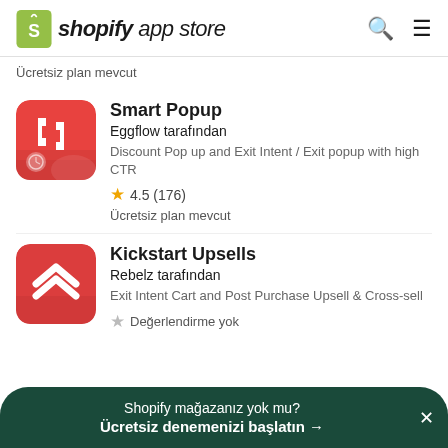shopify app store
Ücretsiz plan mevcut
[Figure (logo): Smart Popup app icon - red rounded square with white bracket/frame and clock icon]
Smart Popup
Eggflow tarafından
Discount Pop up and Exit Intent / Exit popup with high CTR
4.5 (176)
Ücretsiz plan mevcut
[Figure (logo): Kickstart Upsells app icon - red rounded square with white double chevron up arrows]
Kickstart Upsells
Rebelz tarafından
Exit Intent Cart and Post Purchase Upsell & Cross-sell
Değerlendirme yok
Shopify mağazanız yok mu? Ücretsiz denemenizi başlatın →